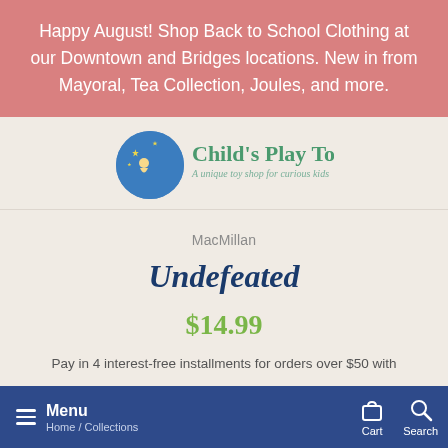Happy August! Shop Back to School Clothing at our Downtown and Bridges locations. New in from Mayoral, Tea Collection, Joules, and more.
[Figure (logo): Child's Play Toys logo — circular blue moon with stars and a child silhouette, with text 'Child's Play Toys' in teal/green and tagline 'A unique toy shop for curious kids']
MacMillan
Undefeated
$14.99
Pay in 4 interest-free installments for orders over $50 with
Menu  Home / Collections  Cart  Search